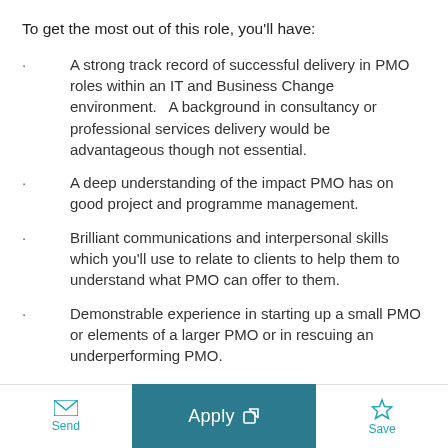To get the most out of this role, you’ll have:
A strong track record of successful delivery in PMO roles within an IT and Business Change environment.   A background in consultancy or professional services delivery would be advantageous though not essential.
A deep understanding of the impact PMO has on good project and programme management.
Brilliant communications and interpersonal skills which you’ll use to relate to clients to help them to understand what PMO can offer to them.
Demonstrable experience in starting up a small PMO or elements of a larger PMO or in rescuing an underperforming PMO.
Send  Apply  Save